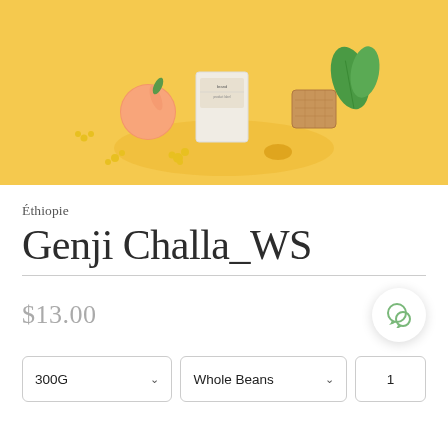[Figure (photo): Product photo of a coffee bag on a yellow background with a peach, yellow flowers, honeycomb, and green leaves arranged decoratively on a circular yellow platform.]
Éthiopie
Genji Challa_WS
$13.00
300G
Whole Beans
1